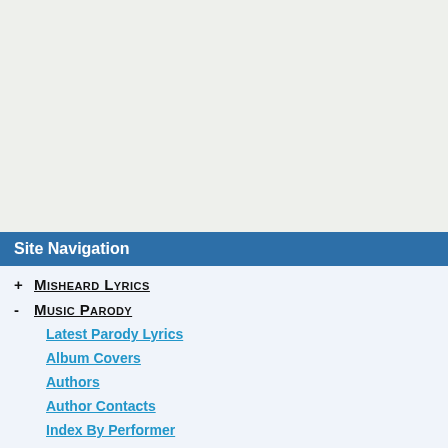Site Navigation
+ Misheard Lyrics
- Music Parody
Latest Parody Lyrics
Album Covers
Authors
Author Contacts
Index By Performer
Index By Decade
Fragments